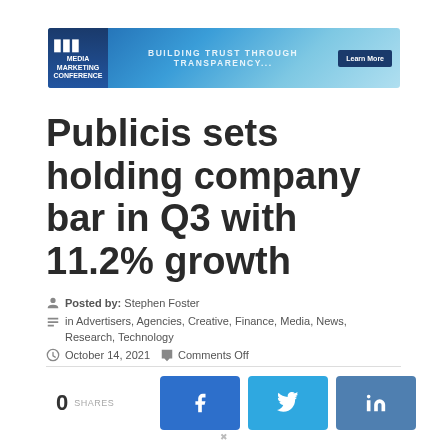[Figure (other): Banner advertisement for Media Marketing Conference (MMC) with blue gradient background, logo on left, tagline 'BUILDING TRUST THROUGH TRANSPARENCY...' and 'Learn More' button]
Publicis sets holding company bar in Q3 with 11.2% growth
Posted by: Stephen Foster
in Advertisers, Agencies, Creative, Finance, Media, News, Research, Technology
October 14, 2021  Comments Off
0 SHARES